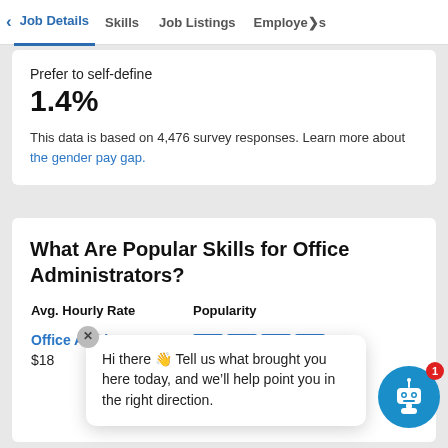< Job Details   Skills   Job Listings   Employers
Prefer to self-define
1.4%
This data is based on 4,476 survey responses. Learn more about the gender pay gap.
What Are Popular Skills for Office Administrators?
|  | Avg. Hourly Rate | Popularity |
| --- | --- | --- |
| Office Admi... | $18 | — |
Hi there 👋 Tell us what brought you here today, and we'll help point you in the right direction.